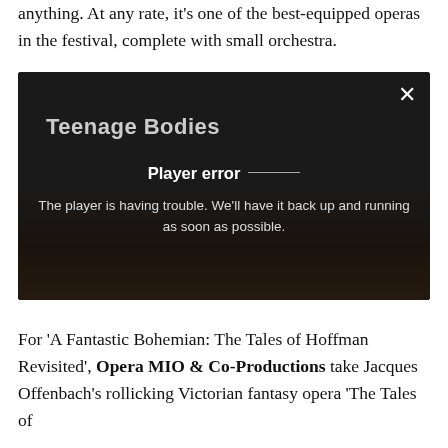anything. At any rate, it's one of the best-equipped operas in the festival, complete with small orchestra.
[Figure (screenshot): Video player showing 'Teenage Bodies' with a player error overlay message: 'The player is having trouble. We'll have it back up and running as soon as possible.' Dark background with close button (×) in top right.]
For 'A Fantastic Bohemian: The Tales of Hoffman Revisited', Opera MIO & Co-Productions take Jacques Offenbach's rollicking Victorian fantasy opera 'The Tales of